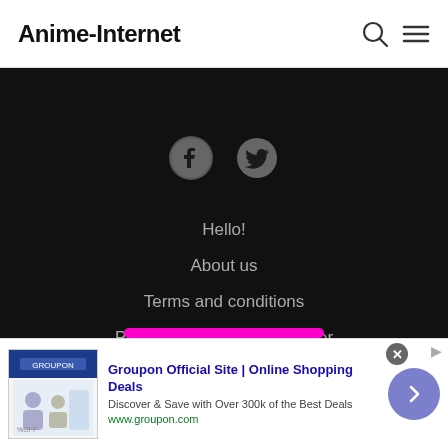Anime-Internet
[Figure (screenshot): Dark section with Facebook and Twitter social media icons in grey on a black background]
Hello!
About us
Terms and conditions
Privacy policy and disclaimer
[Figure (screenshot): Advertisement banner for Groupon Official Site with text: Groupon Official Site | Online Shopping Deals. Discover & Save with Over 300k of the Best Deals. www.groupon.com]